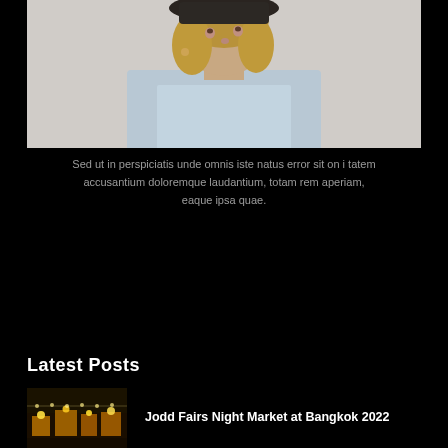[Figure (photo): A woman wearing a dark wide-brim hat and a light blue dotted shirt, looking to the side against a white/grey background]
Sed ut in perspiciatis unde omnis iste natus error sit on i tatem accusantium doloremque laudantium, totam rem aperiam, eaque ipsa quae.
Latest Posts
[Figure (photo): Night market scene, warm golden lights, outdoor market at Bangkok]
Jodd Fairs Night Market at Bangkok 2022